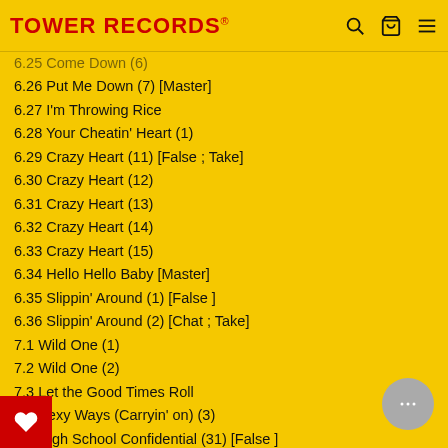TOWER RECORDS
6.26 Put Me Down (7) [Master]
6.27 I'm Throwing Rice
6.28 Your Cheatin' Heart (1)
6.29 Crazy Heart (11) [False ; Take]
6.30 Crazy Heart (12)
6.31 Crazy Heart (13)
6.32 Crazy Heart (14)
6.33 Crazy Heart (15)
6.34 Hello Hello Baby [Master]
6.35 Slippin' Around (1) [False ]
6.36 Slippin' Around (2) [Chat ; Take]
7.1 Wild One (1)
7.2 Wild One (2)
7.3 Let the Good Times Roll
7.4 Sexy Ways (Carryin' on) (3)
7.5 High School Confidential (31) [False ]
7.6 High School Confidential (32)
7.7 High School Confidential (33) [False S]